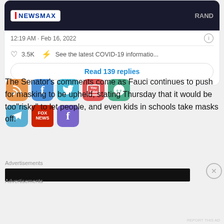[Figure (screenshot): Top portion of a tweet card showing a Newsmax video thumbnail with dark background and 'RAND' text on right side]
12:19 AM · Feb 16, 2022
♡ 3.5K   ⚡ See the latest COVID-19 informatio...
Read 139 replies
[Figure (infographic): Row of social media share icons: RSS (orange), Facebook (blue), Twitter (light blue), YouTube (red), Reddit (green), Telegram (light blue), Fox News (red), Facebook (purple)]
The Senator's comments come as Fauci continues to push for masking to be upheld, stating Thursday that it would be too"risky" to let people, and even kids in schools take masks off.
Advertisements
[Figure (screenshot): Black advertisement bar]
Advertisements